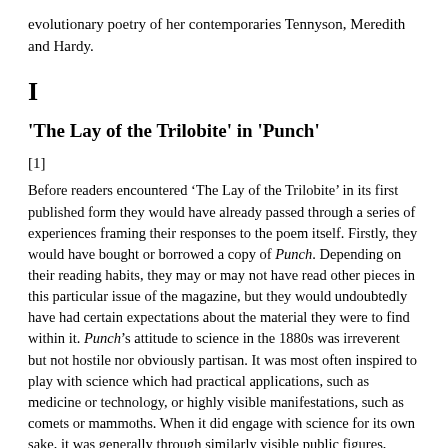evolutionary poetry of her contemporaries Tennyson, Meredith and Hardy.
I
'The Lay of the Trilobite' in 'Punch'
[1]
Before readers encountered ‘The Lay of the Trilobite’ in its first published form they would have already passed through a series of experiences framing their responses to the poem itself. Firstly, they would have bought or borrowed a copy of Punch. Depending on their reading habits, they may or may not have read other pieces in this particular issue of the magazine, but they would undoubtedly have had certain expectations about the material they were to find within it. Punch’s attitude to science in the 1880s was irreverent but not hostile nor obviously partisan. It was most often inspired to play with science which had practical applications, such as medicine or technology, or highly visible manifestations, such as comets or mammoths. When it did engage with science for its own sake, it was generally through similarly visible public figures, including T. H. Huxley and William Carpenter, both of whom are named in the original text of ‘The Lay of the Trilobite’ (ll. 23, 34;